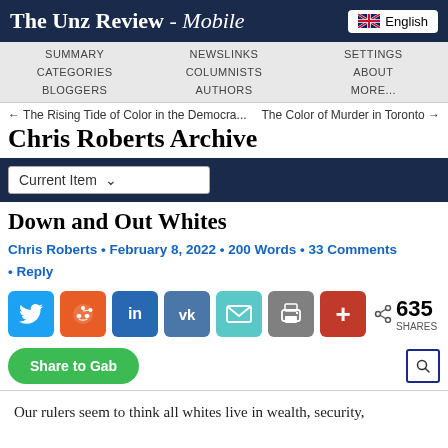The Unz Review - Mobile
SUMMARY | NEWSLINKS | SETTINGS | CATEGORIES | COLUMNISTS | ABOUT | BLOGGERS | AUTHORS | MORE...
← The Rising Tide of Color in the Democra...    The Color of Murder in Toronto →
Chris Roberts Archive
Current Item (dropdown)
Down and Out Whites
Chris Roberts • February 8, 2022 • 200 Words • 33 Comments • Reply
[Figure (infographic): Social share buttons: Twitter, Reddit, LinkedIn, VK, Email, Print, Plus; 635 SHARES]
Share to Gab
Our rulers seem to think all whites live in wealth, security,